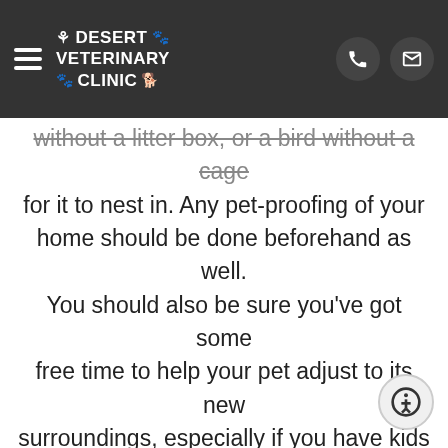Desert Veterinary Clinic
without a litter box, or a bird without a cage for it to nest in. Any pet-proofing of your home should be done beforehand as well. You should also be sure you've got some free time to help your pet adjust to its new surroundings, especially if you have kids or other pets. Once you're ready, contact the shelter or rescue group.
Every organization is going to have a slightly different process and price fo...